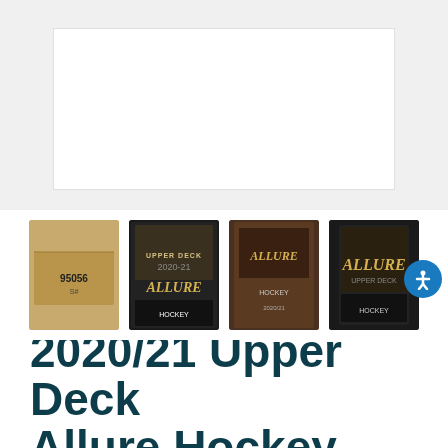[Figure (photo): Main product image area showing blank/loading image of 2020/21 Upper Deck Allure Hockey product]
[Figure (photo): Thumbnail gallery showing four product images: cardboard shipping box labeled 95056, front of Allure Hockey card box with player imagery, side view of Allure Hockey box, and single Allure Hockey card pack]
2020/21 Upper Deck Allure Hockey
Menu  Hit Parade  Sell to us  Your Cart